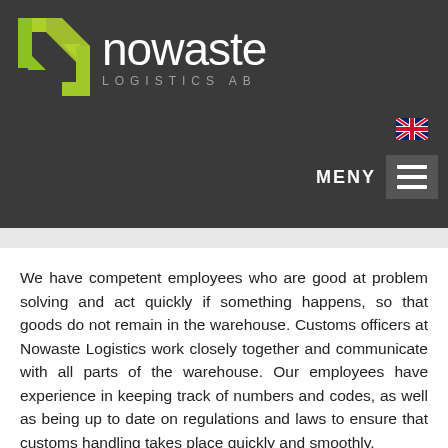[Figure (logo): Nowaste Logistics AB logo with green arrow N icon and white text on dark grey background]
[Figure (other): UK flag icon]
[Figure (other): MENY hamburger menu button on dark grey background]
We have competent employees who are good at problem solving and act quickly if something happens, so that goods do not remain in the warehouse. Customs officers at Nowaste Logistics work closely together and communicate with all parts of the warehouse. Our employees have experience in keeping track of numbers and codes, as well as being up to date on regulations and laws to ensure that customs handling takes place quickly and smoothly.